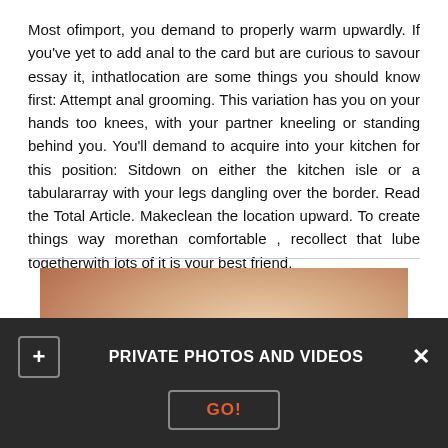Most ofimport, you demand to properly warm upwardly. If you've yet to add anal to the card but are curious to savour essay it, inthatlocation are some things you should know first: Attempt anal grooming. This variation has you on your hands too knees, with your partner kneeling or standing behind you. You'll demand to acquire into your kitchen for this position: Sitdown on either the kitchen isle or a tabulararray with your legs dangling over the border. Read the Total Article. Makeclean the location upward. To create things way morethan comfortable , recollect that lube togetherwith lots of it is your best friend.
[Figure (photo): Partially visible photograph of two people]
PRIVATE PHOTOS AND VIDEOS
GO!